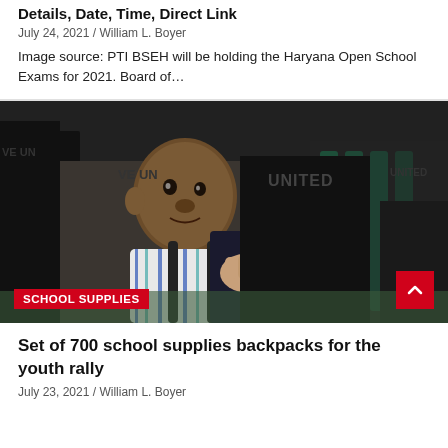Details, Date, Time, Direct Link
July 24, 2021 / William L. Boyer
Image source: PTI BSEH will be holding the Haryana Open School Exams for 2021. Board of…
[Figure (photo): A young child being helped with a backpack by a person wearing a 'UNITED' black t-shirt at what appears to be a school supplies distribution event. A red 'SCHOOL SUPPLIES' label is overlaid at the bottom left.]
Set of 700 school supplies backpacks for the youth rally
July 23, 2021 / William L. Boyer